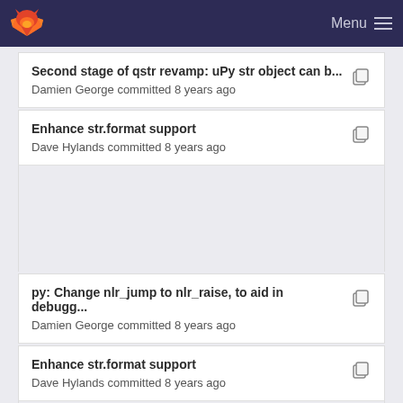Menu
Second stage of qstr revamp: uPy str object can b...
Damien George committed 8 years ago
Enhance str.format support
Dave Hylands committed 8 years ago
py: Change nlr_jump to nlr_raise, to aid in debugg...
Damien George committed 8 years ago
Enhance str.format support
Dave Hylands committed 8 years ago